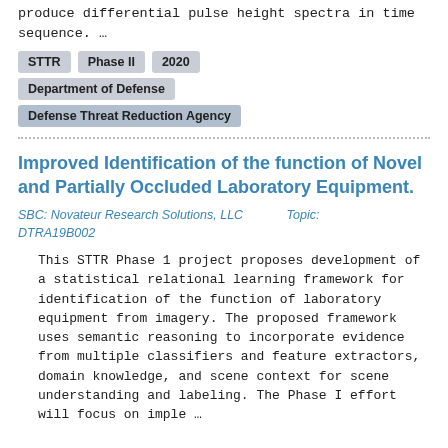produce differential pulse height spectra in time sequence. …
STTR
Phase II
2020
Department of Defense
Defense Threat Reduction Agency
Improved Identification of the function of Novel and Partially Occluded Laboratory Equipment.
SBC: Novateur Research Solutions, LLC        Topic: DTRA19B002
This STTR Phase 1 project proposes development of a statistical relational learning framework for identification of the function of laboratory equipment from imagery. The proposed framework uses semantic reasoning to incorporate evidence from multiple classifiers and feature extractors, domain knowledge, and scene context for scene understanding and labeling. The Phase I effort will focus on imple …